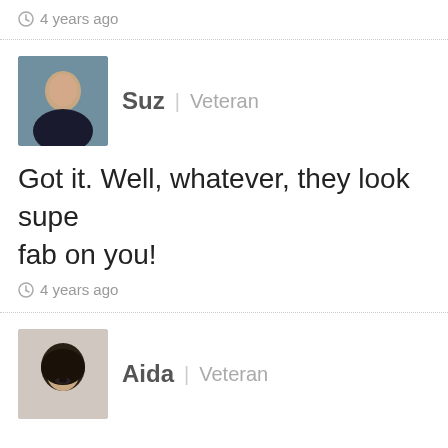4 years ago
Suz | Veteran
Got it. Well, whatever, they look supe fab on you!
4 years ago
Aida | Veteran